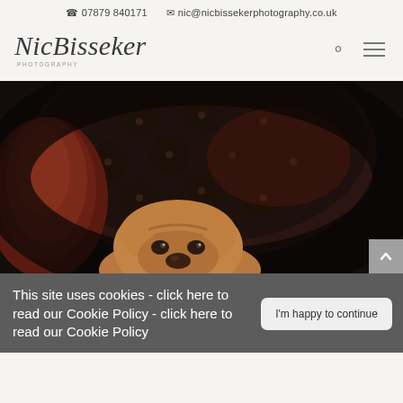07879 840171   nic@nicbissekerphotography.co.uk
[Figure (logo): Nic Bisseker Photography logo — script font with 'PHOTOGRAPHY' in spaced capitals below]
[Figure (photo): A golden/brown dog (Shar Pei) peering over the back of a dark tufted leather Chesterfield armchair with deep red/mahogany arm, photographed against a dark background]
This site uses cookies - click here to read our Cookie Policy - click here to read our Cookie Policy
I'm happy to continue